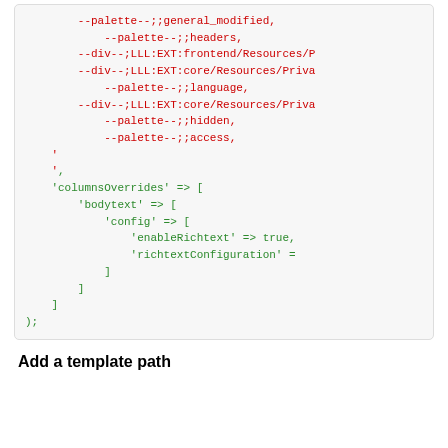[Figure (screenshot): Code snippet showing PHP array configuration with palette and div entries in red, and columnsOverrides configuration in green, ending with );]
Add a template path